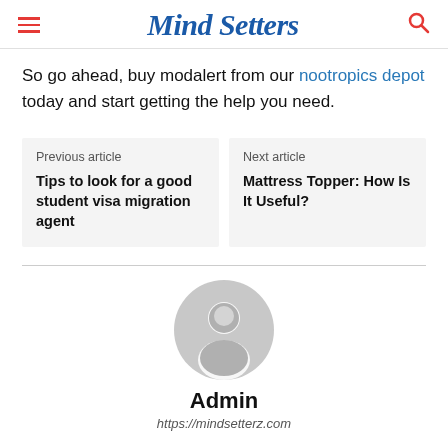Mind Setters
So go ahead, buy modalert from our nootropics depot today and start getting the help you need.
Previous article
Tips to look for a good student visa migration agent
Next article
Mattress Topper: How Is It Useful?
[Figure (illustration): Generic user avatar icon — a grey silhouette of a person in a circle]
Admin
https://mindsetterz.com